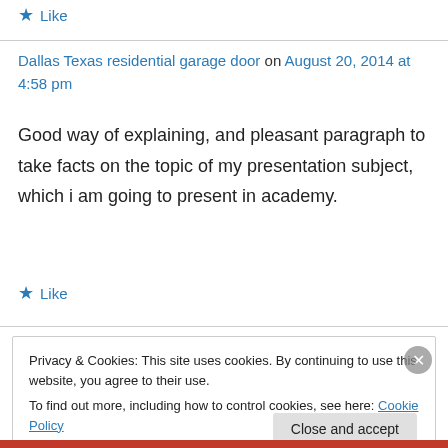★ Like
Dallas Texas residential garage door on August 20, 2014 at 4:58 pm
Good way of explaining, and pleasant paragraph to take facts on the topic of my presentation subject, which i am going to present in academy.
★ Like
Privacy & Cookies: This site uses cookies. By continuing to use this website, you agree to their use.
To find out more, including how to control cookies, see here: Cookie Policy